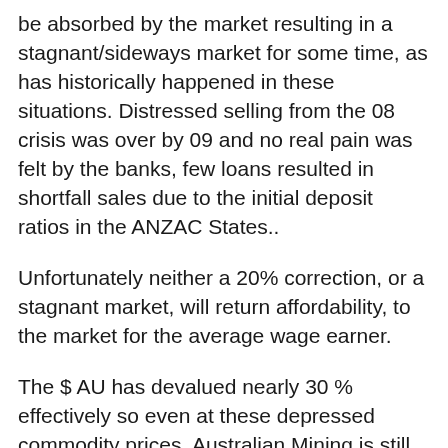be absorbed by the market resulting in a stagnant/sideways market for some time, as has historically happened in these situations. Distressed selling from the 08 crisis was over by 09 and no real pain was felt by the banks, few loans resulted in shortfall sales due to the initial deposit ratios in the ANZAC States..
Unfortunately neither a 20% correction, or a stagnant market, will return affordability, to the market for the average wage earner.
The $ AU has devalued nearly 30 % effectively so even at these depressed commodity prices, Australian Mining is still profitable, in Australia, particularly GOLD. For which demand seems to be slightly increasing, for some reason.